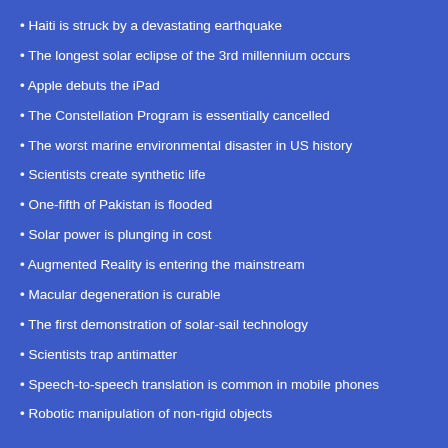Haiti is struck by a devastating earthquake
The longest solar eclipse of the 3rd millennium occurs
Apple debuts the iPad
The Constellation Program is essentially cancelled
The worst marine environmental disaster in US history
Scientists create synthetic life
One-fifth of Pakistan is flooded
Solar power is plunging in cost
Augmented Reality is entering the mainstream
Macular degeneration is curable
The first demonstration of solar-sail technology
Scientists trap antimatter
Speech-to-speech translation is common in mobile phones
Robotic manipulation of non-rigid objects